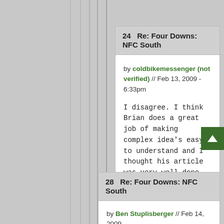24  Re: Four Downs: NFC South
by coldbikemessenger (not verified) // Feb 13, 2009 - 6:33pm
I disagree. I think Brian does a great job of making complex idea's easy to understand and I thought his article was very well done.
28  Re: Four Downs: NFC South
by Ben Stuplisberger // Feb 14, 2009 -